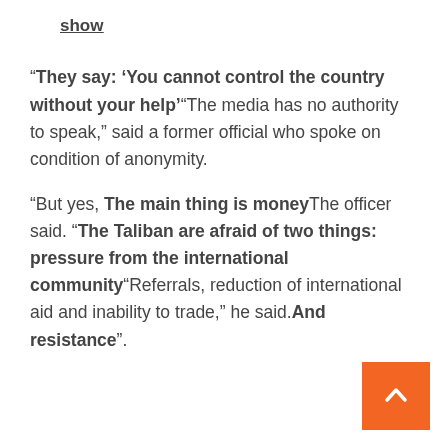show
“They say: ‘You cannot control the country without your help’”The media has no authority to speak,” said a former official who spoke on condition of anonymity.
“But yes, The main thing is moneyThe officer said. “The Taliban are afraid of two things: pressure from the international community”Referrals, reduction of international aid and inability to trade,” he said.And resistance”.